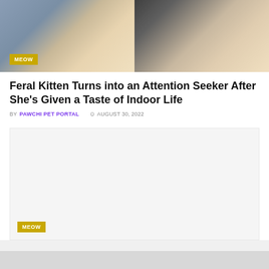[Figure (photo): Hero image split: left side shows a hand with pink nails holding a small kitten wrapped in a gray blanket; right side shows a smiling blonde woman with a small dog peeking over her shoulder against a dark background.]
Feral Kitten Turns into an Attention Seeker After She's Given a Taste of Indoor Life
BY PAWCHI PET PORTAL  © AUGUST 30, 2022
[Figure (photo): Advertisement or placeholder image box with gray background and a MEOW badge at the bottom left.]